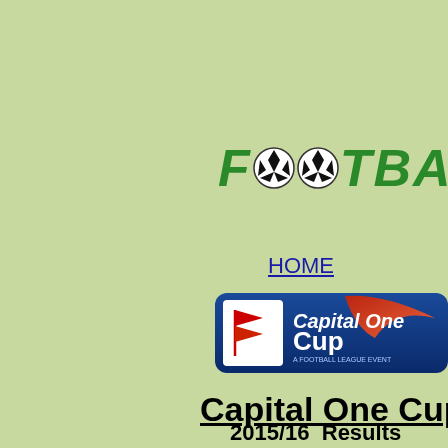[Figure (logo): Footballs website logo with green italic text 'FOOTBALLS' and two soccer ball icons replacing the two O letters]
HOME
[Figure (logo): Capital One Cup football league cup official banner logo with blue gradient background and red swoosh]
Capital One Cup
2015/16  Results